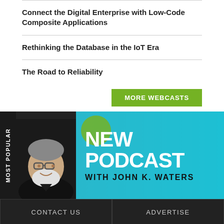Connect the Digital Enterprise with Low-Code Composite Applications
Rethinking the Database in the IoT Era
The Road to Reliability
MORE WEBCASTS
[Figure (infographic): New Podcast with John K. Waters banner with photo of host and teal background, with MOST POPULAR vertical tab on the left]
CONTACT US | ADVERTISE | ARCHIVES | EVENTS